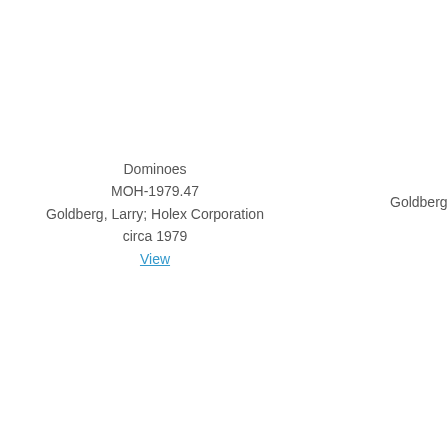Dominoes
MOH-1979.47
Goldberg, Larry; Holex Corporation
circa 1979
View
Goldberg,